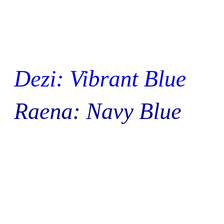Dezi: Vibrant Blue
Raena: Navy Blue